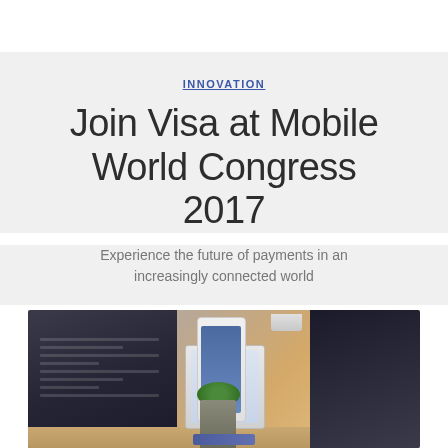INNOVATION
Join Visa at Mobile World Congress 2017
Experience the future of payments in an increasingly connected world
[Figure (photo): Desk scene with laptop, phone, tablet, plant, credit card, notebook, and mug — technology workspace]